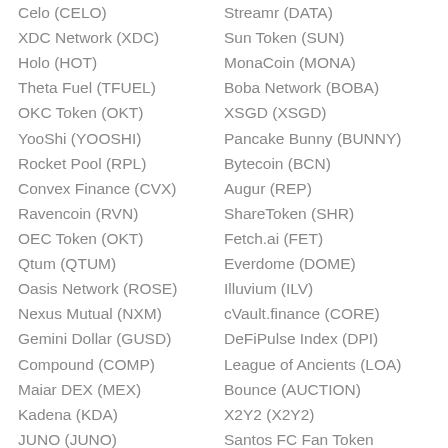Celo (CELO)
Streamr (DATA)
XDC Network (XDC)
Sun Token (SUN)
Holo (HOT)
MonaCoin (MONA)
Theta Fuel (TFUEL)
Boba Network (BOBA)
OKC Token (OKT)
XSGD (XSGD)
YooShi (YOOSHI)
Pancake Bunny (BUNNY)
Rocket Pool (RPL)
Bytecoin (BCN)
Convex Finance (CVX)
Augur (REP)
Ravencoin (RVN)
ShareToken (SHR)
OEC Token (OKT)
Fetch.ai (FET)
Qtum (QTUM)
Everdome (DOME)
Oasis Network (ROSE)
Illuvium (ILV)
Nexus Mutual (NXM)
cVault.finance (CORE)
Gemini Dollar (GUSD)
DeFiPulse Index (DPI)
Compound (COMP)
League of Ancients (LOA)
Maiar DEX (MEX)
Bounce (AUCTION)
Kadena (KDA)
X2Y2 (X2Y2)
JUNO (JUNO)
Santos FC Fan Token (SANTOS)
Ethereum Name Service